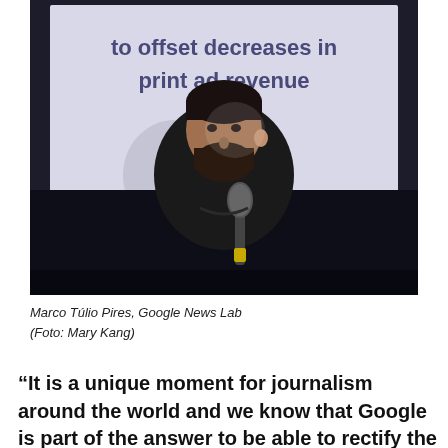[Figure (photo): A bearded man holding a microphone speaks in front of a projected presentation slide that reads '...enough to offset decreases in print ad revenue'. The photo is taken in a dark conference room setting.]
Marco Túlio Pires, Google News Lab (Foto: Mary Kang)
“It is a unique moment for journalism around the world and we know that Google is part of the answer to be able to rectify the problems that journalism faces today,” said Marco Túlio Pires